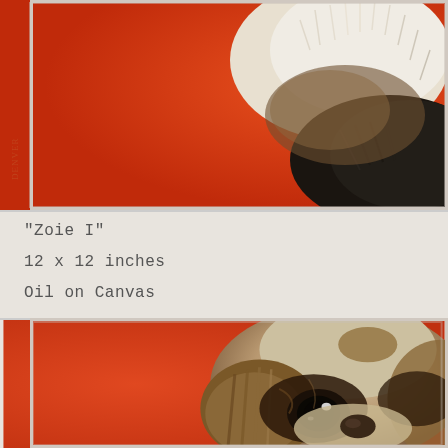[Figure (photo): Oil painting of a fluffy cat (partial view showing fur and back) on a vivid red-orange background, with artist signature on the left side.]
"Zoie I"
12 x 12 inches
Oil on Canvas
[Figure (photo): Oil painting of a Cavalier King Charles Spaniel or Pekingese dog face close-up on a vivid red-orange background, showing expressive dark eyes and brown/cream fur markings.]